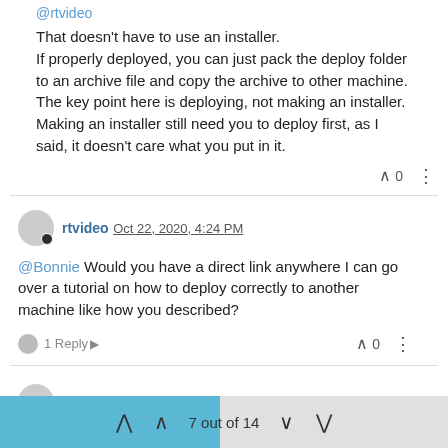@rtvideo
That doesn't have to use an installer.
If properly deployed, you can just pack the deploy folder to an archive file and copy the archive to other machine.
The key point here is deploying, not making an installer.
Making an installer still need you to deploy first, as I said, it doesn't care what you put in it.
rtvideo Oct 22, 2020, 4:24 PM
@Bonnie Would you have a direct link anywhere I can go over a tutorial on how to deploy correctly to another machine like how you described?
1 Reply >
Bonnie Oct 22, 2020, 4:41 PM
@rtvideo
Well, there is https://doc.qt.io/qt-5/deployment.html
7 out of 14